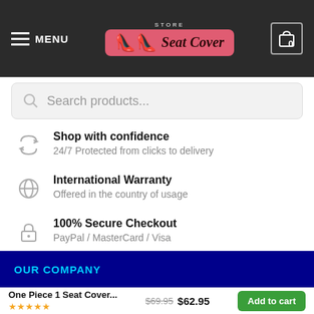MENU | Store Seat Cover Logo | 0
Search products...
Shop with confidence
24/7 Protected from clicks to delivery
International Warranty
Offered in the country of usage
100% Secure Checkout
PayPal / MasterCard / Visa
OUR COMPANY
One Piece 1 Seat Cover... ★★★★★ $69.95 $62.95 Add to cart